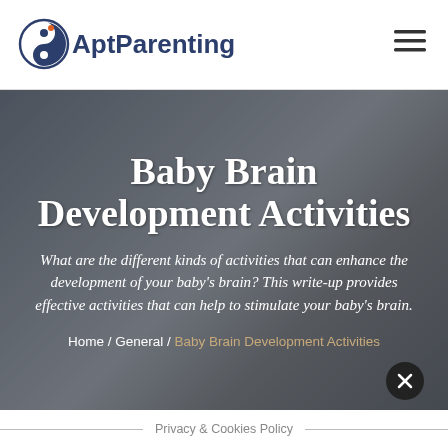AptParenting
Baby Brain Development Activities
What are the different kinds of activities that can enhance the development of your baby's brain? This write-up provides effective activities that can help to stimulate your baby's brain.
Home / General / Baby Brain Development Activities
Privacy & Cookies Policy